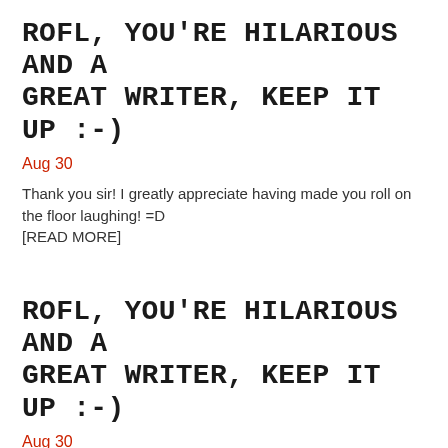ROFL, YOU'RE HILARIOUS AND A GREAT WRITER, KEEP IT UP :-)
Aug 30
Thank you sir!  I greatly appreciate having made you roll on the floor laughing! =D
[READ MORE]
ROFL, YOU'RE HILARIOUS AND A GREAT WRITER, KEEP IT UP :-)
Aug 30
Thank you sir!  I greatly appreciate having made you roll on the floor laughing! =D
[READ MORE]